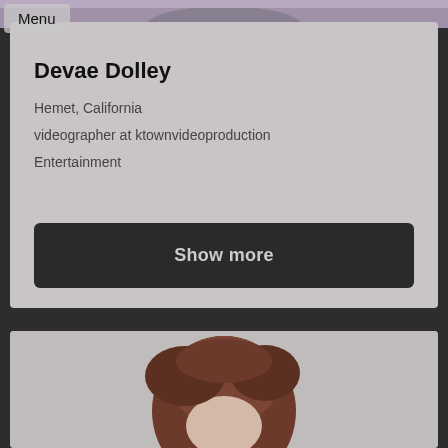[Figure (photo): Top portion of a profile photo, cropped — shows upper background area with muted purple-gray tones]
Menu
Devae Dolley
Hemet, California
videographer at ktownvideoproduction
Entertainment
Show more
[Figure (photo): Bottom portion — profile photo of a person with reddish-brown hair, light skin, gray background, showing from top of head]